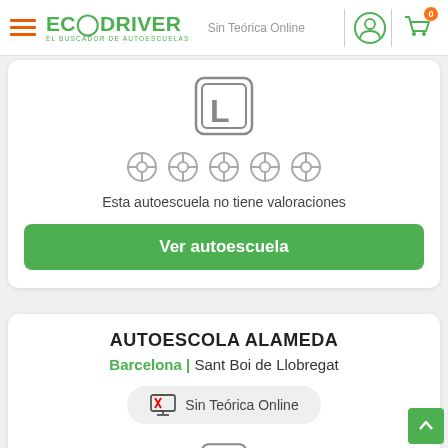EcoDriver – El buscador de autoescuelas | Sin Teórica Online
[Figure (illustration): Driving school L-plate icon (license plate with letter L)]
[Figure (illustration): Five steering wheel icons representing rating stars (grey, unrated)]
Esta autoescuela no tiene valoraciones
Ver autoescuela
AUTOESCOLA ALAMEDA
Barcelona | Sant Boi de Llobregat
[Figure (illustration): Badge showing monitor icon with X and text 'Sin Teórica Online']
[Figure (illustration): Driving school L-plate icon (license plate with letter L), partially visible at bottom]